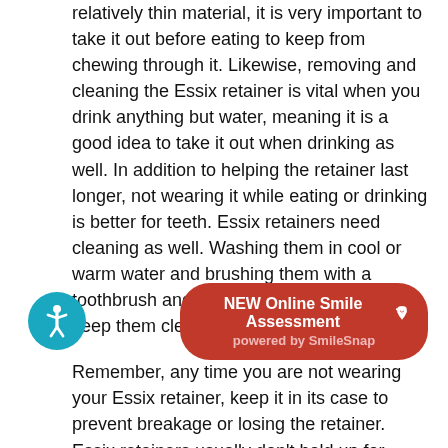relatively thin material, it is very important to take it out before eating to keep from chewing through it. Likewise, removing and cleaning the Essix retainer is vital when you drink anything but water, meaning it is a good idea to take it out when drinking as well. In addition to helping the retainer last longer, not wearing it while eating or drinking is better for teeth. Essix retainers need cleaning as well. Washing them in cool or warm water and brushing them with a toothbrush and toothpaste is a good way to keep them clean and fresh tasting.
Remember, any time you are not wearing your Essix retainer, keep it in its case to prevent breakage or losing the retainer. Essix retainers usually don't hold up for extremely long periods of wear, especially for those who grind their teeth when sleeping. Often they are provided... the first stage of treatment before a Hawley
[Figure (other): Circular accessibility icon button (blue background, white person figure) and a red rounded banner reading 'NEW Online Smile Assessment (camera icon) powered by SmileSnap']